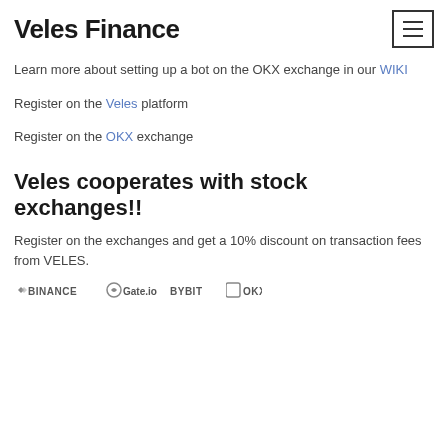Veles Finance
Learn more about setting up a bot on the OKX exchange in our WIKI
Register on the Veles platform
Register on the OKX exchange
Veles cooperates with stock exchanges!!
Register on the exchanges and get a 10% discount on transaction fees from VELES.
[Figure (logo): Logos of BINANCE, Gate.io, BYBIT, OKX exchanges shown in a row at the bottom of the page]